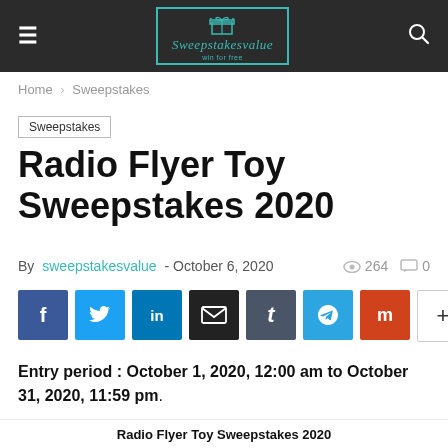Sweepstakesvalue
Home > Sweepstakes
Sweepstakes
Radio Flyer Toy Sweepstakes 2020
By sweepstakesvalue - October 6, 2020  264  0
[Figure (other): Social sharing buttons: Facebook, Twitter, LinkedIn, Email, Tumblr, Telegram, Mix, More]
Entry period : October 1, 2020, 12:00 am to October 31, 2020, 11:59 pm.
Radio Flyer Toy Sweepstakes 2020